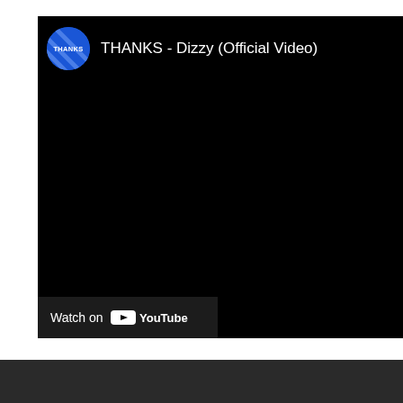[Figure (screenshot): YouTube embedded video player showing 'THANKS - Dizzy (Official Video)'. The player has a black background with a circular channel icon (blue with diagonal stripe pattern and 'THANKS' text) in the upper left, followed by the video title. At the bottom left is a 'Watch on YouTube' button bar. The video content area is black.]